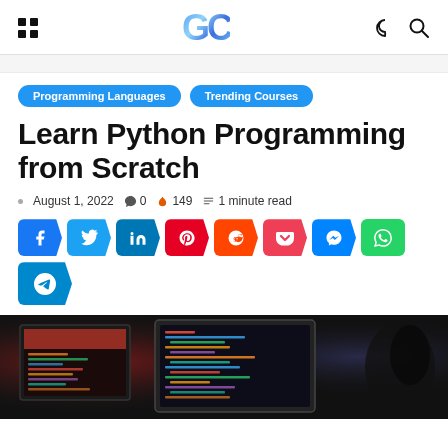GC
Programming Languages  Trending Courses
Learn Python Programming from Scratch
August 1, 2022  0  149  1 minute read
[Figure (screenshot): Social share buttons: Facebook, Twitter, LinkedIn, Pinterest, Reddit, Pocket, Messenger, WhatsApp, Telegram]
[Figure (photo): Photo of computer monitors showing code, programming workspace]